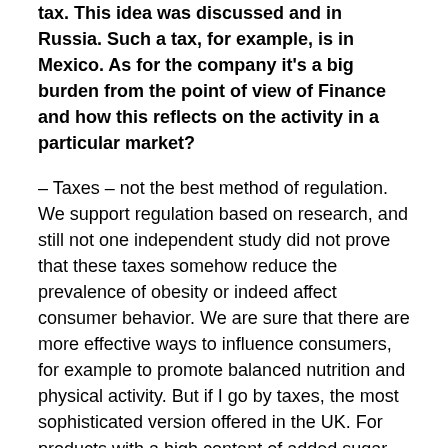tax. This idea was discussed and in Russia. Such a tax, for example, is in Mexico. As for the company it's a big burden from the point of view of Finance and how this reflects on the activity in a particular market?
– Taxes – not the best method of regulation. We support regulation based on research, and still not one independent study did not prove that these taxes somehow reduce the prevalence of obesity or indeed affect consumer behavior. We are sure that there are more effective ways to influence consumers, for example to promote balanced nutrition and physical activity. But if I go by taxes, the most sophisticated version offered in the UK. For products with a high content of added sugar tax was higher, with moderate to below, and if sugar was less than 5 g per 100 ml, were not taxes in General.